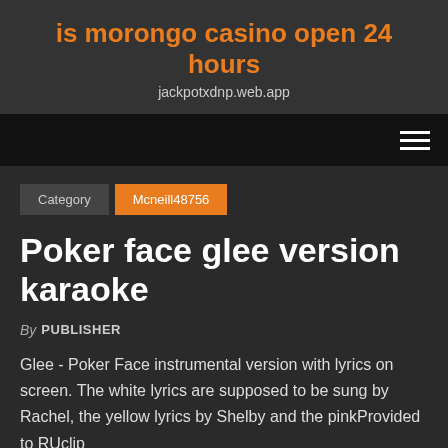is morongo casino open 24 hours
jackpotxdnp.web.app
[Figure (other): Navigation hamburger menu icon with three horizontal white lines on black background]
Category  Mcneill48756
Poker face glee version karaoke
By PUBLISHER
Glee - Poker Face instrumental version with lyrics on screen. The white lyrics are supposed to be sung by Rachel, the yellow lyrics by Shelby and the pinkProvided to RUclip